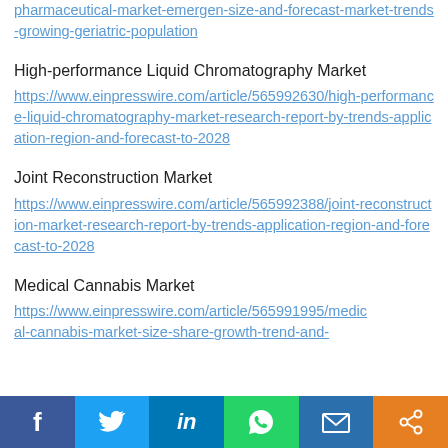pharmaceutical-market-emergen-size-and-forecast-market-trends-growing-geriatric-population (link, truncated at top)
High-performance Liquid Chromatography Market
https://www.einpresswire.com/article/565992630/high-performance-liquid-chromatography-market-research-report-by-trends-application-region-and-forecast-to-2028
Joint Reconstruction Market
https://www.einpresswire.com/article/565992388/joint-reconstruction-market-research-report-by-trends-application-region-and-forecast-to-2028
Medical Cannabis Market
https://www.einpresswire.com/article/565991995/medical-cannabis-market-size-share-growth-trend-and-